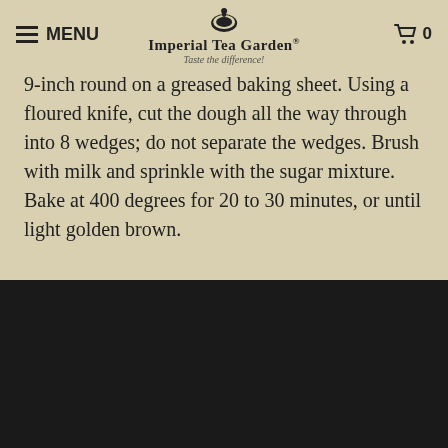MENU | Imperial Tea Garden® Taste the difference! | 0
minutes, or until light golden brown. Serve warm.Note: If desired, pat all of the dough into a 9-inch round on a greased baking sheet. Using a floured knife, cut the dough all the way through into 8 wedges; do not separate the wedges. Brush with milk and sprinkle with the sugar mixture. Bake at 400 degrees for 20 to 30 minutes, or until light golden brown.
< SCONE RECIPES
FOLLOW
[Figure (other): Row of 6 social media icons in circles: Twitter, Facebook, Google+, Pinterest, Tumblr, Instagram]